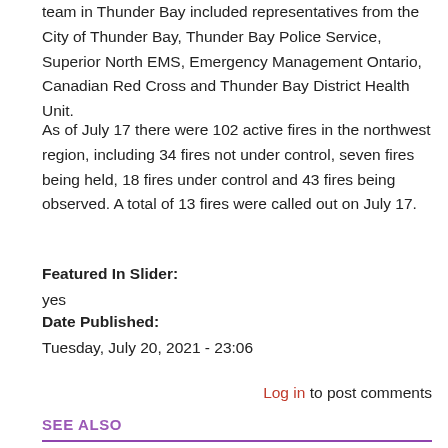team in Thunder Bay included representatives from the City of Thunder Bay, Thunder Bay Police Service, Superior North EMS, Emergency Management Ontario, Canadian Red Cross and Thunder Bay District Health Unit.
As of July 17 there were 102 active fires in the northwest region, including 34 fires not under control, seven fires being held, 18 fires under control and 43 fires being observed. A total of 13 fires were called out on July 17.
Featured In Slider:
yes
Date Published:
Tuesday, July 20, 2021 - 23:06
Log in to post comments
SEE ALSO